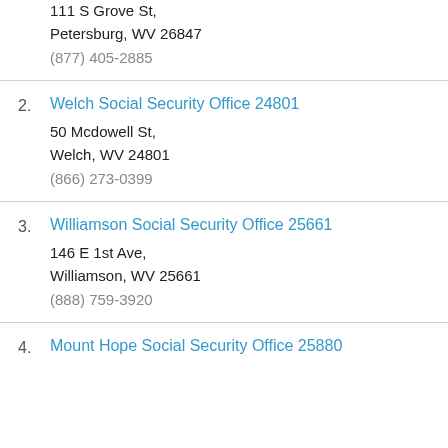111 S Grove St,
Petersburg, WV 26847
(877) 405-2885
2. Welch Social Security Office 24801
50 Mcdowell St,
Welch, WV 24801
(866) 273-0399
3. Williamson Social Security Office 25661
146 E 1st Ave,
Williamson, WV 25661
(888) 759-3920
4. Mount Hope Social Security Office 25880